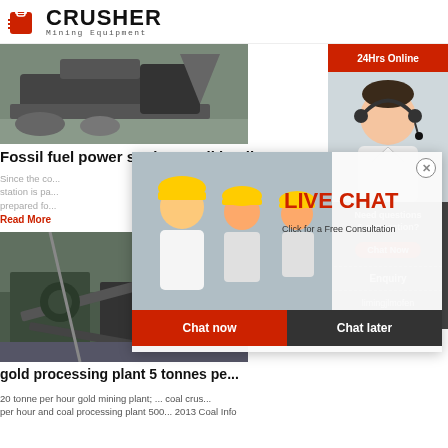[Figure (logo): Crusher Mining Equipment logo with red shopping bag icon and bold CRUSHER text]
[Figure (photo): Fossil fuel crusher/mining heavy machinery equipment in operation outdoors]
Fossil fuel power station – Wikipedia
Since the co... station is pa... prepared fo...
Read More
[Figure (photo): Gold processing / mining plant machinery with conveyor belts and industrial equipment]
gold processing plant 5 tonnes pe...
20 tonne per hour gold mining plant; ... coal crus... per hour and coal processing plant 500... 2013 Coal Info
[Figure (screenshot): Live chat popup overlay showing workers in hard hats, LIVE CHAT text in red, Click for a Free Consultation subtitle, Chat now and Chat later buttons]
[Figure (photo): 24Hrs Online banner with headset agent photo on right sidebar]
Need questions & suggestion?
Chat Now
Enquiry
limingjlmofen@sina.com